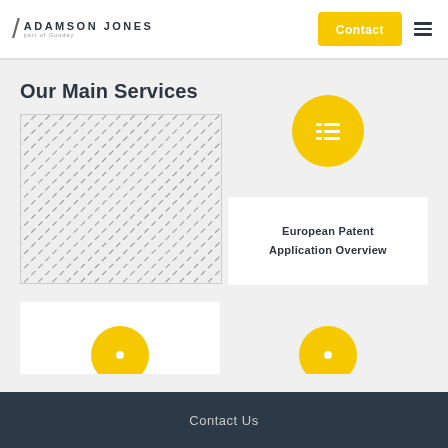[Figure (logo): Adamson Jones logo with slash mark and tagline 'part of Gunday']
Contact
Our Main Services
[Figure (illustration): Hatched diagonal pattern image placeholder]
[Figure (illustration): Yellow circle with list/menu icon]
European Patent Application Overview
[Figure (illustration): Yellow circle icon bottom left]
[Figure (illustration): Yellow circle icon bottom right]
Contact Us